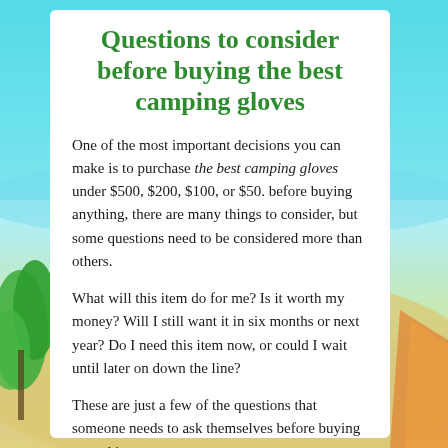Questions to consider before buying the best camping gloves
One of the most important decisions you can make is to purchase the best camping gloves under $500, $200, $100, or $50. before buying anything, there are many things to consider, but some questions need to be considered more than others.
What will this item do for me? Is it worth my money? Will I still want it in six months or next year? Do I need this item now, or could I wait until later on down the line?
These are just a few of the questions that someone needs to ask themselves before buying something new.